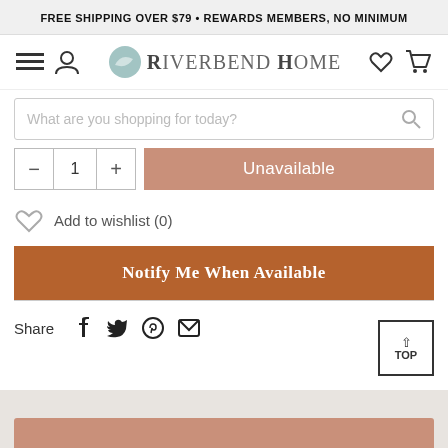FREE SHIPPING OVER $79 • REWARDS MEMBERS, NO MINIMUM
[Figure (logo): Riverbend Home logo with navigation icons]
What are you shopping for today?
— 1 + Unavailable
Add to wishlist (0)
Notify Me When Available
Share (social icons: Facebook, Twitter, Pinterest, Email)